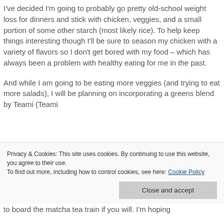I've decided I'm going to probably go pretty old-school weight loss for dinners and stick with chicken, veggies, and a small portion of some other starch (most likely rice). To help keep things interesting though I'll be sure to season my chicken with a variety of flavors so I don't get bored with my food – which has always been a problem with healthy eating for me in the past.
And while I am going to be eating more veggies (and trying to eat more salads), I will be planning on incorporating a greens blend by Teami (Teami Greens). I've been dying to do it and I'm going to board the matcha tea train if you will. I'm hoping
Privacy & Cookies: This site uses cookies. By continuing to use this website, you agree to their use.
To find out more, including how to control cookies, see here: Cookie Policy
to board the matcha tea train if you will. I'm hoping